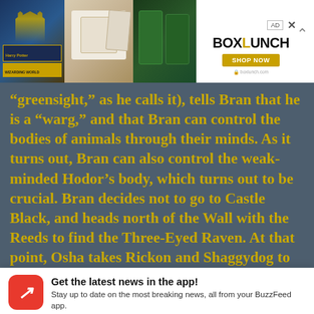[Figure (screenshot): Advertisement banner showing Harry Potter themed merchandise including shirts and green items, with BoxLunch logo and SHOP NOW button]
“greensight,” as he calls it), tells Bran that he is a “warg,” and that Bran can control the bodies of animals through their minds. As it turns out, Bran can also control the weak-minded Hodor’s body, which turns out to be crucial. Bran decides not to go to Castle Black, and heads north of the Wall with the Reeds to find the Three-Eyed Raven. At that point, Osha takes Rickon and Shaggydog to
Get the latest news in the app! Stay up to date on the most breaking news, all from your BuzzFeed app.
Maybe later
Get the app